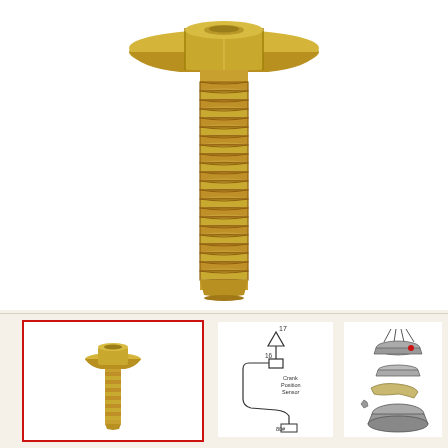[Figure (photo): Large close-up photo of a gold/yellow zinc-plated hexagonal flange bolt with threaded shank, viewed from slightly above and to the side, on a white background.]
[Figure (photo): Small thumbnail photo of the same gold/yellow zinc-plated hexagonal flange bolt, enclosed in a red rectangular border.]
[Figure (schematic): Line diagram/schematic showing a Crank Position Sensor with numbered callouts (17, 16, 80#) and wire routing.]
[Figure (engineering-diagram): Exploded view engineering diagram showing bolt assembly components with a red dot callout indicator.]